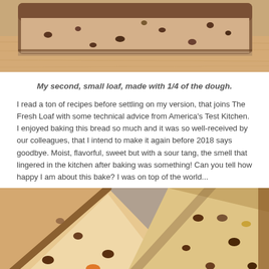[Figure (photo): Top portion of a sliced raisin/fruit bread loaf on a wooden cutting board, showing the crust and cross-section with dried fruit pieces visible]
My second, small loaf, made with 1/4 of the dough.
I read a ton of recipes before settling on my version, that joins The Fresh Loaf with some technical advice from America's Test Kitchen.  I enjoyed baking this bread so much and it was so well-received by our colleagues, that I intend to make it again before 2018 says goodbye. Moist, flavorful, sweet but with a sour tang, the smell that lingered in the kitchen after baking was something! Can you tell how happy I am about this bake? I was on top of the world...
[Figure (photo): Close-up of sliced fruit/raisin bread pieces arranged on a plate, showing golden-brown crust and light crumb with raisins and dried apricot pieces]